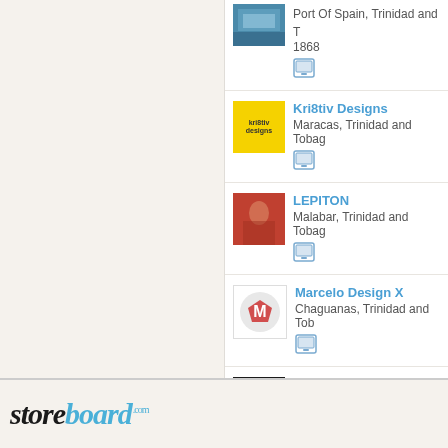Port Of Spain, Trinidad and T... 1868
Kri8tiv Designs — Maracas, Trinidad and Tobago
LEPITON — Malabar, Trinidad and Tobago
Marcelo Design X — Chaguanas, Trinidad and Tobago
Mediocone — Islamabad, Trinidad and Tobago
storeboard.com